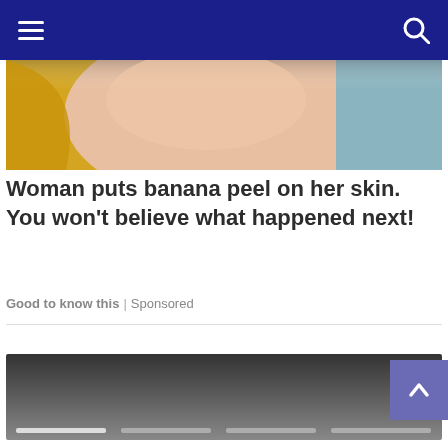Navigation bar with hamburger menu and search icon
[Figure (photo): Close-up photo of a person's face/skin with yellowish banana peel background elements and a blueish background]
Woman puts banana peel on her skin. You won't believe what happened next!
Good to know this | Sponsored
[Figure (photo): Bottom carousel/slider area with a dark gradient overlay and four white navigation indicator lines at the bottom]
[Figure (other): Back to top button (purple/blue square with upward chevron arrow)]